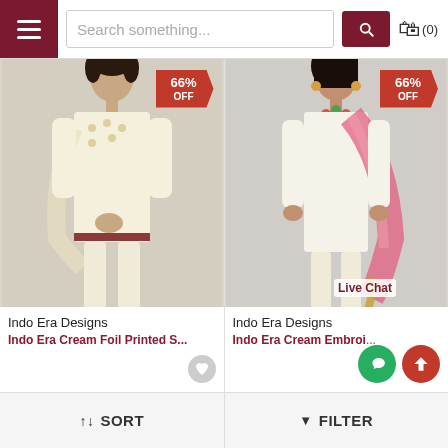[Figure (screenshot): E-commerce website header with hamburger menu, search bar, and cart icon]
[Figure (photo): Product photo of a woman wearing Indo Era Cream Foil Printed Salwar suit with 66% OFF discount tag]
[Figure (photo): Product photo of a woman wearing Indo Era Cream Embroidered Salwar suit with pink dupatta and 66% OFF discount tag, with Live Chat overlay]
Indo Era Designs
Indo Era Cream Foil Printed S...
Indo Era Designs
Indo Era Cream Embroid
Live Chat
↑↓ SORT    ▼ FILTER